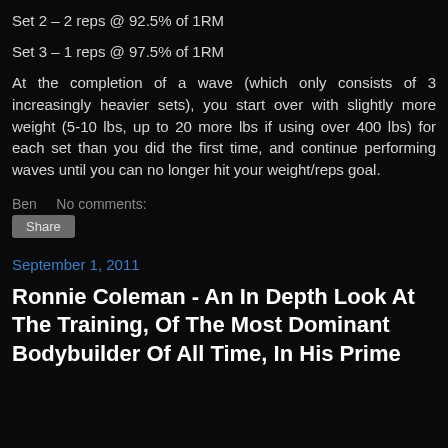Set 2 – 2 reps @ 92.5% of 1RM
Set 3 – 1 reps @ 97.5% of 1RM
At the completion of a wave (which only consists of 3 increasingly heavier sets), you start over with slightly more weight (5-10 lbs, up to 20 more lbs if using over 400 lbs) for each set than you did the first time, and continue performing waves until you can no longer hit your weight/reps goal.
Ben    No comments:
Share
September 1, 2011
Ronnie Coleman - An In Depth Look At The Training, Of The Most Dominant Bodybuilder Of All Time, In His Prime